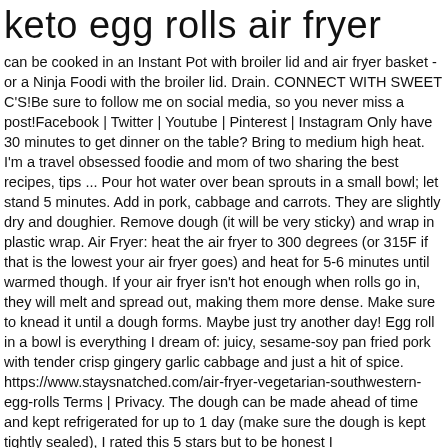keto egg rolls air fryer
can be cooked in an Instant Pot with broiler lid and air fryer basket - or a Ninja Foodi with the broiler lid. Drain. CONNECT WITH SWEET C'S!Be sure to follow me on social media, so you never miss a post!Facebook | Twitter | Youtube | Pinterest | Instagram Only have 30 minutes to get dinner on the table? Bring to medium high heat. I'm a travel obsessed foodie and mom of two sharing the best recipes, tips ... Pour hot water over bean sprouts in a small bowl; let stand 5 minutes. Add in pork, cabbage and carrots. They are slightly dry and doughier. Remove dough (it will be very sticky) and wrap in plastic wrap. Air Fryer: heat the air fryer to 300 degrees (or 315F if that is the lowest your air fryer goes) and heat for 5-6 minutes until warmed though. If your air fryer isn't hot enough when rolls go in, they will melt and spread out, making them more dense. Make sure to knead it until a dough forms. Maybe just try another day! Egg roll in a bowl is everything I dream of: juicy, sesame-soy pan fried pork with tender crisp gingery garlic cabbage and just a hit of spice. https://www.staysnatched.com/air-fryer-vegetarian-southwestern-egg-rolls Terms | Privacy. The dough can be made ahead of time and kept refrigerated for up to 1 day (make sure the dough is kept tightly sealed), I rated this 5 stars but to be honest I